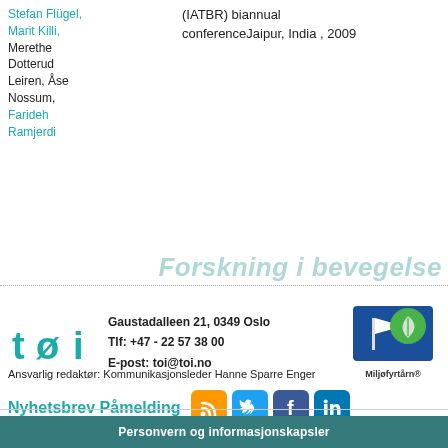Stefan Flügel, Marit Killi, Merethe Dotterud Leiren, Åse Nossum, Farideh Ramjerdi
(IATBR) biannual conferenceJaipur, India , 2009
Forskning i bevegelse
Gaustadalleen 21, 0349 Oslo
Tlf: +47 - 22 57 38 00
E-post: toi@toi.no
[Figure (logo): TØI logo — stylized letters tøi in teal]
[Figure (logo): Miljøfyrtårn certification badge — blue square with green leaf and white flag/lighthouse icon, text Miljøfyrtårn®]
Ansvarlig redaktør: Kommunikasjonsleder Hanne Sparre Enger
Nyhetsbrev Påmelding
[Figure (infographic): Social media icons: RSS (orange), Twitter (blue), Facebook (dark blue), LinkedIn (blue)]
Personvern og informasjonskapsler